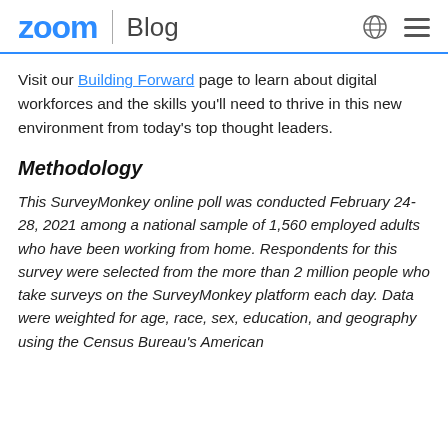zoom | Blog
Visit our Building Forward page to learn about digital workforces and the skills you’ll need to thrive in this new environment from today’s top thought leaders.
Methodology
This SurveyMonkey online poll was conducted February 24-28, 2021 among a national sample of 1,560 employed adults who have been working from home. Respondents for this survey were selected from the more than 2 million people who take surveys on the SurveyMonkey platform each day. Data were weighted for age, race, sex, education, and geography using the Census Bureau’s American